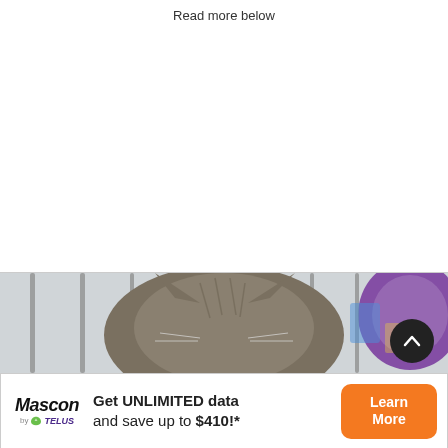Read more below
[Figure (photo): Close-up photo of a cat or small furry animal seen through metal bars of a cage, with a purple circular toy or object visible in the background.]
Get UNLIMITED data and save up to $410!* Learn More (Mascon by TELUS advertisement)